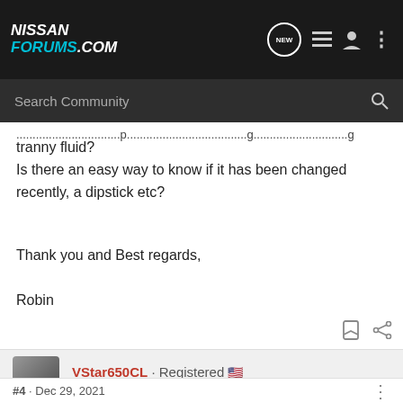NISSAN FORUMS.COM
tranny fluid?
Is there an easy way to know if it has been changed recently, a dipstick etc?
Thank you and Best regards,

Robin
VStar650CL · Registered  Joined Nov 12, 2020 · 3,005 Posts
#4 · Dec 29, 2021